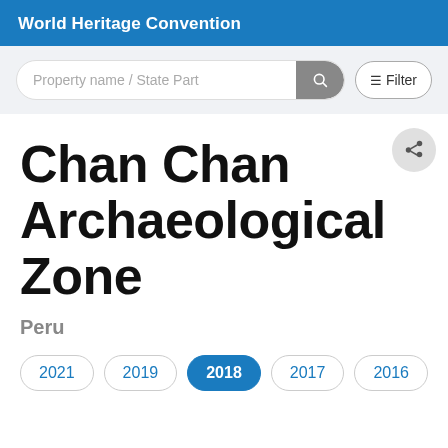World Heritage Convention
[Figure (screenshot): Search bar with placeholder text 'Property name / State Part', a search icon button (grey), and a Filter button with filter icon]
Chan Chan Archaeological Zone
Peru
2021
2019
2018
2017
2016